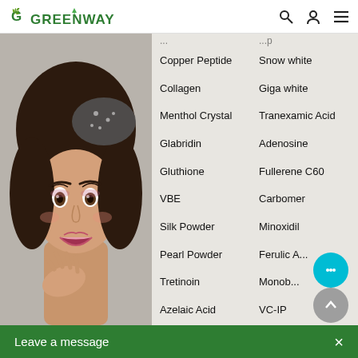[Figure (logo): Greenway logo with green leaf icon and bold green uppercase text]
[Figure (photo): Portrait photo of a young woman with dark hair and a polka-dot bow, looking surprised with hand near face]
Copper Peptide
Snow white
Collagen
Giga white
Menthol Crystal
Tranexamic Acid
Glabridin
Adenosine
Gluthione
Fullerene C60
VBE
Carbomer
Silk Powder
Minoxidil
Pearl Powder
Ferulic Acid
Tretinoin
Mono...
Azelaic Acid
VC-IP
Leave a message